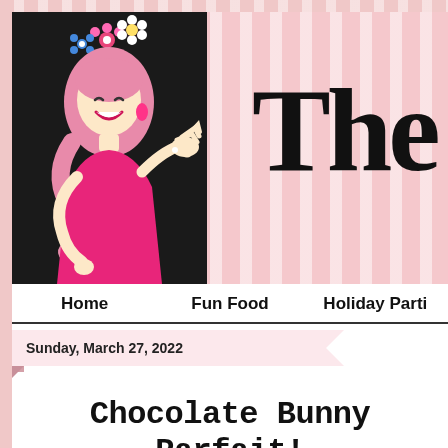[Figure (illustration): Stylized cartoon illustration of a fashionable woman with pink hair and colorful flowers, wearing a pink dress, on a black background, next to a pink-striped background with large 'The' text]
Home   Fun Food   Holiday Parti...
Sunday, March 27, 2022
Chocolate Bunny Parfait!